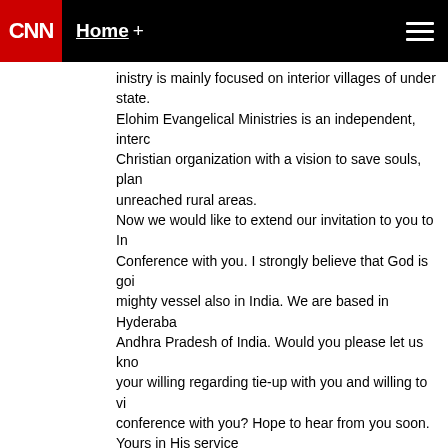CNN | Home + ☰
inistry is mainly focused on interior villages of under state.
Elohim Evangelical Ministries is an independent, interc Christian organization with a vision to save souls, plan unreached rural areas.
Now we would like to extend our invitation to you to In Conference with you. I strongly believe that God is goi mighty vessel also in India. We are based in Hyderaba Andhra Pradesh of India. Would you please let us kno your willing regarding tie-up with you and willing to vi conference with you? Hope to hear from you soon.
Yours in His service
Pastor Simon Alle
D.No. 1-6-212/14/2,
Zamistanpur, Parsigutta,
Hyderabad – 500 048,
AP, India.
Phone: 0091-9550872114

September 3, 2010 at 10:11 am |